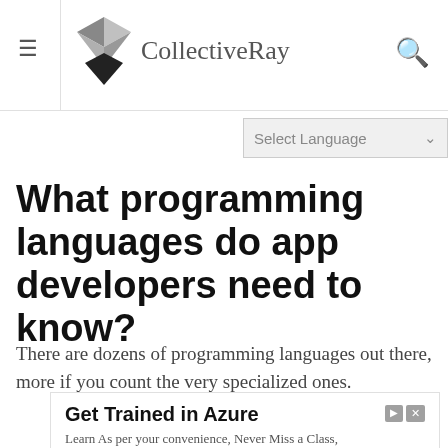CollectiveRay
What programming languages do app developers need to know?
There are dozens of programming languages out there, more if you count the very specialized ones.
[Figure (other): Advertisement for edureka.co: Get Trained in Azure. Learn As per your convenience, Never Miss a Class, Get Personal Trainer and many more. With a Learn More button.]